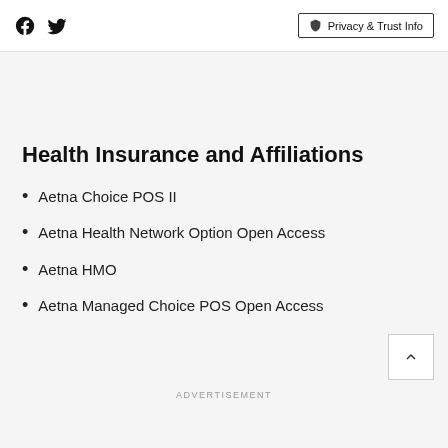Facebook Twitter | Privacy & Trust Info
Health Insurance and Affiliations
Aetna Choice POS II
Aetna Health Network Option Open Access
Aetna HMO
Aetna Managed Choice POS Open Access
ADVERTISEMENT